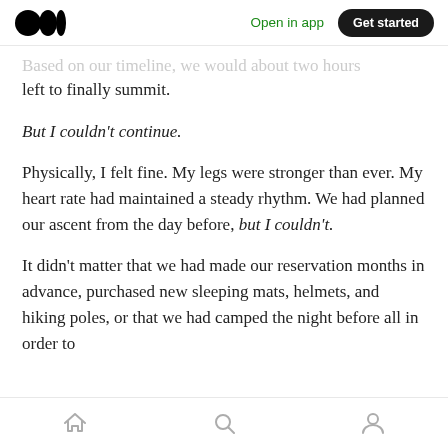Medium logo | Open in app | Get started
Based on our timeline, we would about two hours left to finally summit.
But I couldn't continue.
Physically, I felt fine. My legs were stronger than ever. My heart rate had maintained a steady rhythm. We had planned our ascent from the day before, but I couldn't.
It didn't matter that we had made our reservation months in advance, purchased new sleeping mats, helmets, and hiking poles, or that we had camped the night before all in order to
Home | Search | Profile